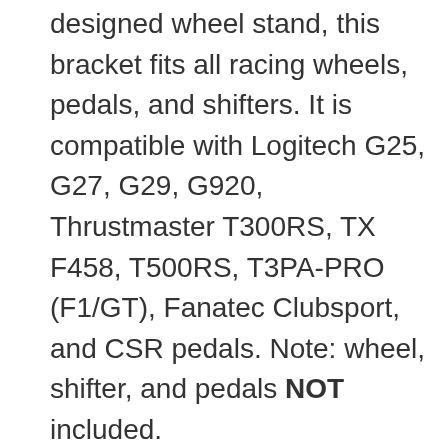designed wheel stand, this bracket fits all racing wheels, pedals, and shifters. It is compatible with Logitech G25, G27, G29, G920, Thrustmaster T300RS, TX F458, T500RS, T3PA-PRO (F1/GT), Fanatec Clubsport, and CSR pedals. Note: wheel, shifter, and pedals NOT included.
Fully Adjustable: The steering wheel stand is entirely angle and height adjustable (ranges from 27"-31.5"/68.5-80 cm), which brings the best driving experience to